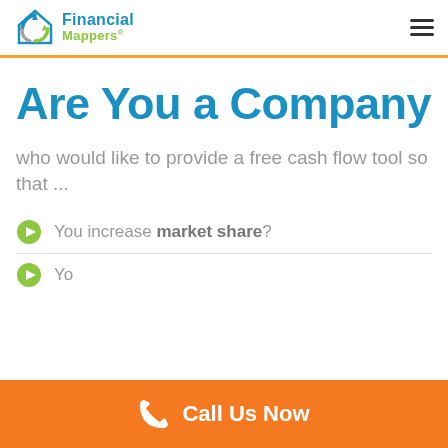Financial Mappers®
Are You a Company
who would like to provide a free cash flow tool so that ...
You increase market share?
You add...
Call Us Now